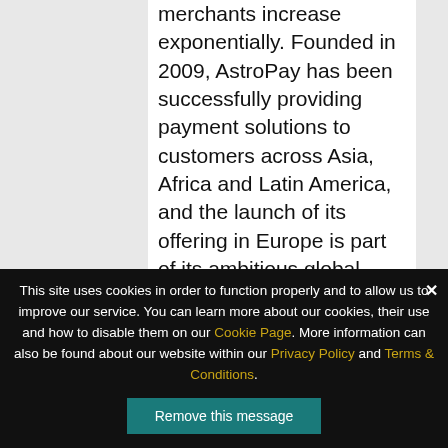merchants increase exponentially. Founded in 2009, AstroPay has been successfully providing payment solutions to customers across Asia, Africa and Latin America, and the launch of its offering in Europe is part of its ambitious global expansion plans, which have been informed directly by customer feedback. AstroPay will be offering its service to customers in the UK, Spain and Portugal initially, following feedback
This site uses cookies in order to function properly and to allow us to improve our service. You can learn more about our cookies, their use and how to disable them on our Cookie Page. More information can also be found about our website within our Privacy Policy and Terms & Conditions.
Remove this message